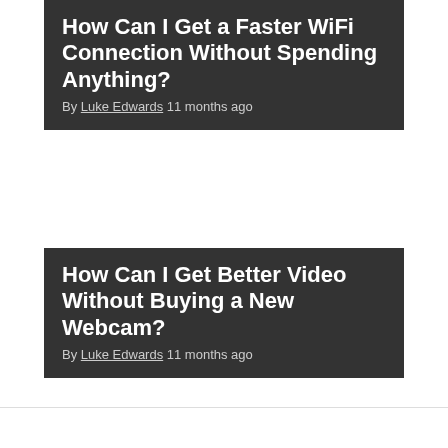How Can I Get a Faster WiFi Connection Without Spending Anything?
By Luke Edwards 11 months ago
How Can I Get Better Video Without Buying a New Webcam?
By Luke Edwards 11 months ago